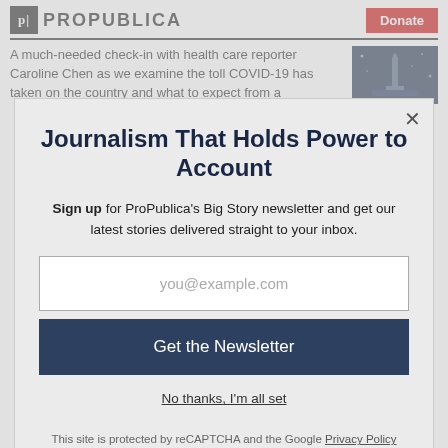[Figure (logo): ProPublica logo with black icon and bold text, plus red Donate button]
A much-needed check-in with health care reporter Caroline Chen as we examine the toll COVID-19 has taken on the country and what to expect from a
Journalism That Holds Power to Account
Sign up for ProPublica's Big Story newsletter and get our latest stories delivered straight to your inbox.
you@example.com
Get the Newsletter
No thanks, I'm all set
This site is protected by reCAPTCHA and the Google Privacy Policy and Terms of Service apply.